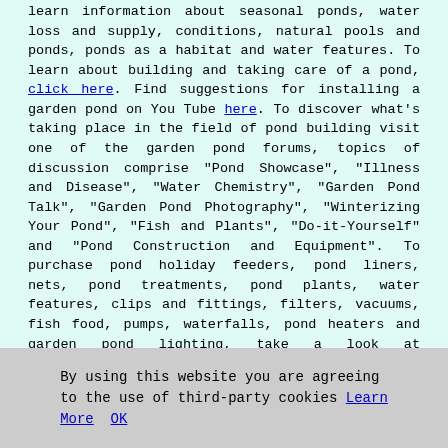learn information about seasonal ponds, water loss and supply, conditions, natural pools and ponds, ponds as a habitat and water features. To learn about building and taking care of a pond, click here. Find suggestions for installing a garden pond on You Tube here. To discover what's taking place in the field of pond building visit one of the garden pond forums, topics of discussion comprise "Pond Showcase", "Illness and Disease", "Water Chemistry", "Garden Pond Talk", "Garden Pond Photography", "Winterizing Your Pond", "Fish and Plants", "Do-it-Yourself" and "Pond Construction and Equipment". To purchase pond holiday feeders, pond liners, nets, pond treatments, pond plants, water features, clips and fittings, filters, vacuums, fish food, pumps, waterfalls, pond heaters and garden pond lighting, take a look at Garden Site.
Scotland Pond Builders
Pond Builders EH49
Garden Installers Near
By using this website you are agreeing to the use of third-party cookies Learn More OK